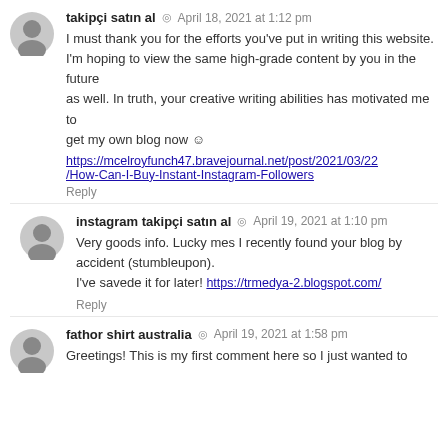takipçi satın al • April 18, 2021 at 1:12 pm
I must thank you for the efforts you've put in writing this website.
I'm hoping to view the same high-grade content by you in the future
as well. In truth, your creative writing abilities has motivated me to
get my own blog now 😊
https://mcelroyfunch47.bravejournal.net/post/2021/03/22/How-Can-I-Buy-Instant-Instagram-Followers
Reply
instagram takipçi satın al • April 19, 2021 at 1:10 pm
Very goods info. Lucky mes I recently found your blog by accident (stumbleupon).
I've savede it for later! https://trmedya-2.blogspot.com/
Reply
fathor shirt australia • April 19, 2021 at 1:58 pm
Greetings! This is my first comment here so I just wanted to